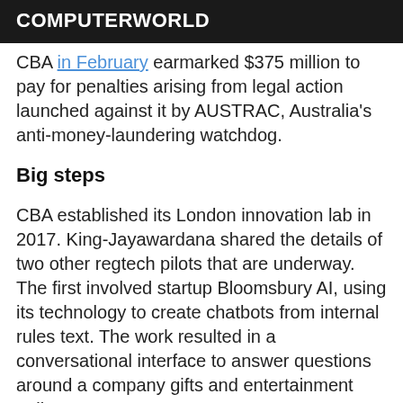COMPUTERWORLD
CBA in February earmarked $375 million to pay for penalties arising from legal action launched against it by AUSTRAC, Australia's anti-money-laundering watchdog.
Big steps
CBA established its London innovation lab in 2017. King-Jayawardana shared the details of two other regtech pilots that are underway. The first involved startup Bloomsbury AI, using its technology to create chatbots from internal rules text. The work resulted in a conversational interface to answer questions around a company gifts and entertainment policy.